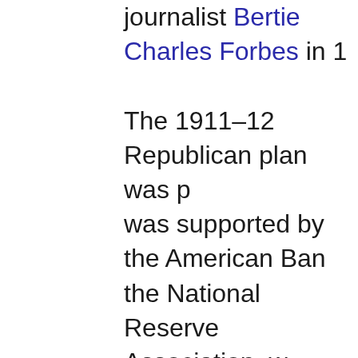journalist Bertie Charles Forbes in 1... The 1911–12 Republican plan was p... was supported by the American Ban... the National Reserve Association, w... various sections. The branches were... capitalization. The National Reserve... commercial paper, that would be the... Association would also carry a portio... buy and sell on the open market, an... and businessmen of each of the 15 ... of directors of the National Reserve...